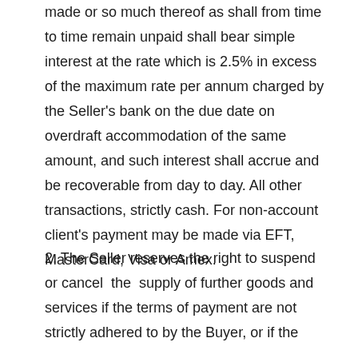made or so much thereof as shall from time to time remain unpaid shall bear simple interest at the rate which is 2.5% in excess of the maximum rate per annum charged by the Seller's bank on the due date on overdraft accommodation of the same amount, and such interest shall accrue and be recoverable from day to day. All other transactions, strictly cash. For non-account client's payment may be made via EFT, MasterCard, Visa or Amex.
2. The Seller reserves the right to suspend or cancel the supply of further goods and services if the terms of payment are not strictly adhered to by the Buyer, or if the